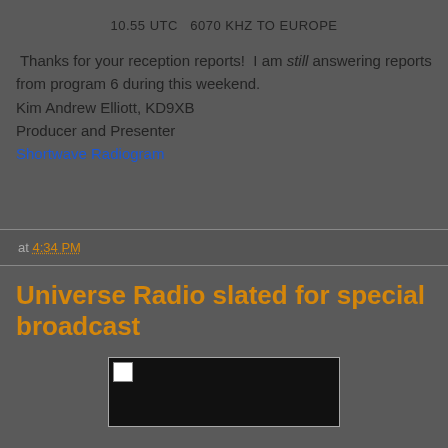10.55 UTC  6070 KHZ TO EUROPE
Thanks for your reception reports!  I am still answering reports from program 6 during this weekend.
Kim Andrew Elliott, KD9XB
Producer and Presenter
Shortwave Radiogram
at 4:34 PM
Universe Radio slated for special broadcast
[Figure (photo): A partially loaded image with a broken image icon on a black background]